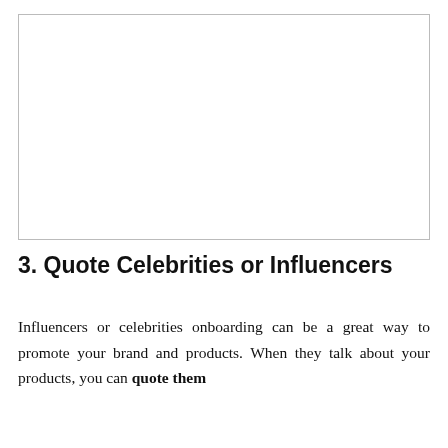[Figure (other): Empty white image placeholder with light grey border]
3. Quote Celebrities or Influencers
Influencers or celebrities onboarding can be a great way to promote your brand and products. When they talk about your products, you can quote them